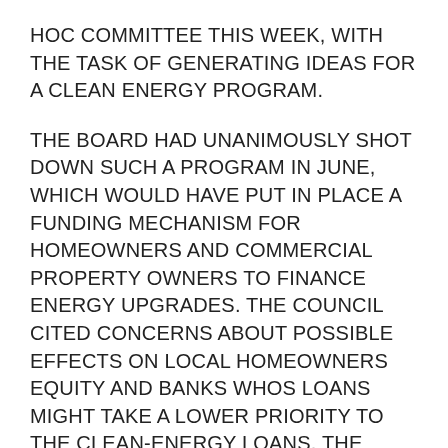HOC COMMITTEE THIS WEEK, WITH THE TASK OF GENERATING IDEAS FOR A CLEAN ENERGY PROGRAM.
THE BOARD HAD UNANIMOUSLY SHOT DOWN SUCH A PROGRAM IN JUNE, WHICH WOULD HAVE PUT IN PLACE A FUNDING MECHANISM FOR HOMEOWNERS AND COMMERCIAL PROPERTY OWNERS TO FINANCE ENERGY UPGRADES. THE COUNCIL CITED CONCERNS ABOUT POSSIBLE EFFECTS ON LOCAL HOMEOWNERS EQUITY AND BANKS WHOS LOANS MIGHT TAKE A LOWER PRIORITY TO THE CLEAN-ENERGY LOANS. THE BOARD IS NOW INTERESTED IN A CLEAN ENERGY IMPROVEMENT FINANCING PROGRAM FOR JUST COMMERCIAL PROPERTY OWNERS.